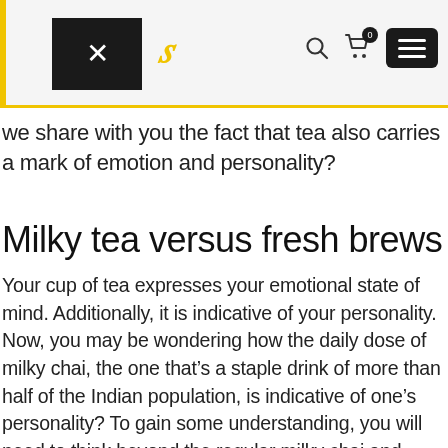Website navigation header with logo, search icon, cart (0), and menu button
we share with you the fact that tea also carries a mark of emotion and personality?
Milky tea versus fresh brews
Your cup of tea expresses your emotional state of mind. Additionally, it is indicative of your personality. Now, you may be wondering how the daily dose of milky chai, the one that's a staple drink of more than half of the Indian population, is indicative of one's personality? To gain some understanding, you will need to think beyond the regular milky chai and enter the